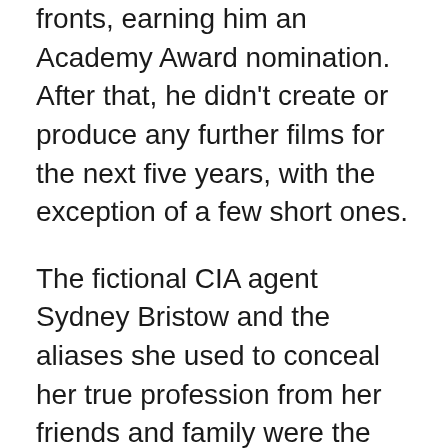fronts, earning him an Academy Award nomination. After that, he didn't create or produce any further films for the next five years, with the exception of a few short ones.
The fictional CIA agent Sydney Bristow and the aliases she used to conceal her true profession from her friends and family were the subjects of Abrams' screenplay for the action series 'Alias.' The series was based on Bristow's life and work as a CIA agent, as well as the aliases she used to conceal the fact that she was a CIA agent from her friends and family. It ran on NBC for five seasons, from 2001 to 2006, and was produced by NBC Entertainment Television. From 2004 until 2010, Abrams worked as a